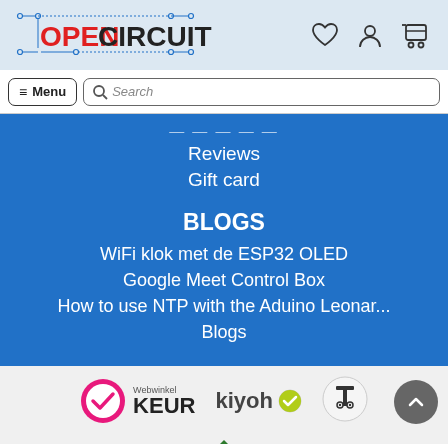[Figure (logo): OpenCircuit logo with circuit board styling. OPEN in red, CIRCUIT in black, with circuit trace decoration.]
[Figure (screenshot): Navigation bar with Menu button and Search input field]
Reviews
Gift card
BLOGS
WiFi klok met de ESP32 OLED
Google Meet Control Box
How to use NTP with the Aduino Leonar...
Blogs
[Figure (logo): Webwinkel KEUR trust badge logo]
[Figure (logo): Kiyoh review platform logo with checkmark]
[Figure (logo): Tweakers logo]